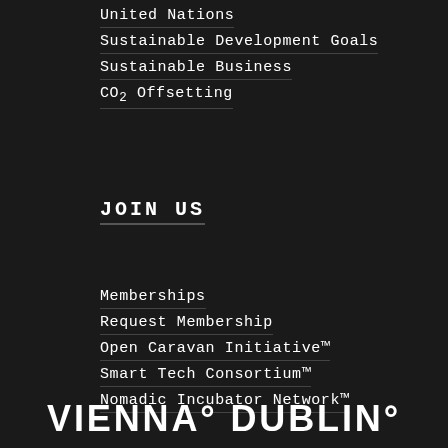United Nations
Sustainable Development Goals
Sustainable Business
CO₂ Offsetting
JOIN US
Memberships
Request Membership
Open Caravan Initiative™
Smart Tech Consortium™
Nomadic Incubator Network™
VIENNA° DUBLIN°